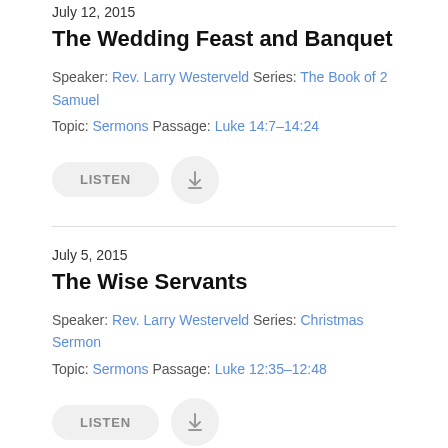July 12, 2015
The Wedding Feast and Banquet
Speaker: Rev. Larry Westerveld Series: The Book of 2 Samuel
Topic: Sermons Passage: Luke 14:7–14:24
[Figure (other): LISTEN button and download icon button]
July 5, 2015
The Wise Servants
Speaker: Rev. Larry Westerveld Series: Christmas Sermon
Topic: Sermons Passage: Luke 12:35–12:48
[Figure (other): LISTEN button and download icon button (partially visible)]